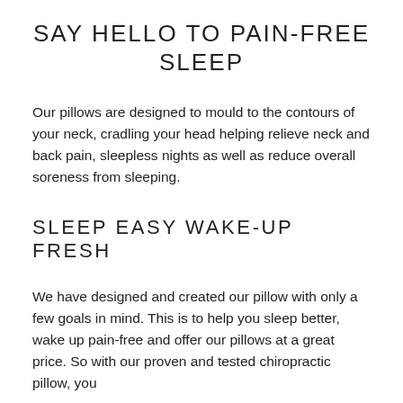SAY HELLO TO PAIN-FREE SLEEP
Our pillows are designed to mould to the contours of your neck, cradling your head helping relieve neck and back pain, sleepless nights as well as reduce overall soreness from sleeping.
SLEEP EASY WAKE-UP FRESH
We have designed and created our pillow with only a few goals in mind. This is to help you sleep better, wake up pain-free and offer our pillows at a great price. So with our proven and tested chiropractic pillow, you